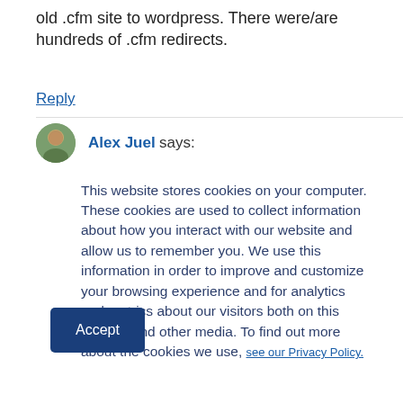old .cfm site to wordpress. There were/are hundreds of .cfm redirects.
Reply
Alex Juel says:
This website stores cookies on your computer. These cookies are used to collect information about how you interact with our website and allow us to remember you. We use this information in order to improve and customize your browsing experience and for analytics and metrics about our visitors both on this website and other media. To find out more about the cookies we use, see our Privacy Policy.
Accept